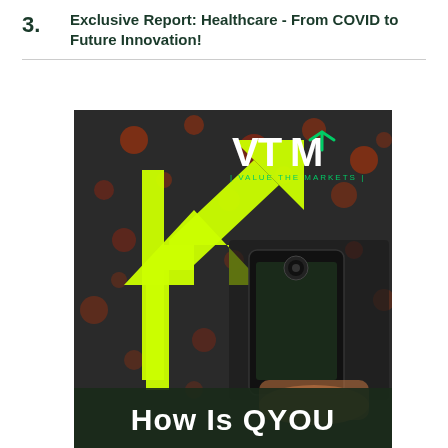Exclusive Report: Healthcare - From COVID to Future Innovation!
[Figure (illustration): VTM (Value The Markets) branded promotional image with a large neon yellow/green upward arrow graphic on the left, a photograph of a person holding a smartphone at an event in the background, the VTM logo in the upper right, and bold white text at the bottom reading 'How Is QYOU']